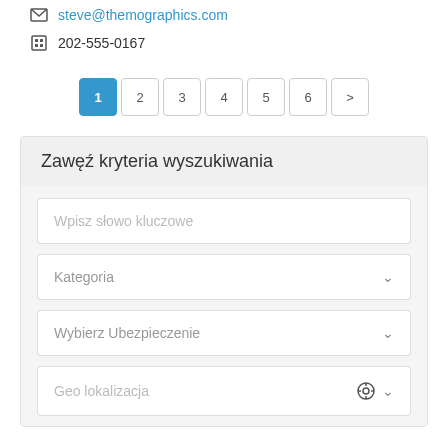steve@themographics.com
202-555-0167
[Figure (infographic): Pagination control with buttons 1 (active/blue), 2, 3, 4, 5, 6, and a next arrow button]
Zawęź kryteria wyszukiwania
Wpisz słowo kluczowe
Kategoria
Wybierz Ubezpieczenie
Geo lokalizacja